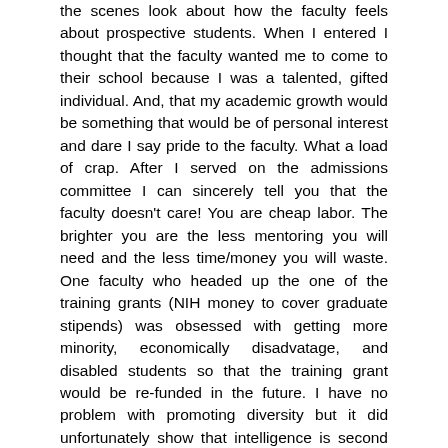the scenes look about how the faculty feels about prospective students. When I entered I thought that the faculty wanted me to come to their school because I was a talented, gifted individual. And, that my academic growth would be something that would be of personal interest and dare I say pride to the faculty. What a load of crap. After I served on the admissions committee I can sincerely tell you that the faculty doesn't care! You are cheap labor. The brighter you are the less mentoring you will need and the less time/money you will waste. One faculty who headed up the one of the training grants (NIH money to cover graduate stipends) was obsessed with getting more minority, economically disadvatage, and disabled students so that the training grant would be re-funded in the future. I have no problem with promoting diversity but it did unfortunately show that intelligence is second to a student who is free. My current mentor, who I consider myself lucky to have, makes derisive comments about her last graduate student. It makes me paranoid about my personality and if I will get a good letter of recommendation. I often wonder why I am still doing this when I could be making a real contribution to my career elsewhere. Sometimes I feel like I'm crazy because I am constantly disagreeing with the faculty's